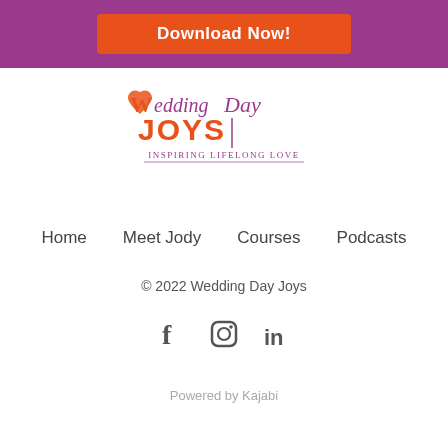[Figure (other): Orange Download Now button on purple background banner]
[Figure (logo): Wedding Day Joys logo with heart icon, orange and purple text, tagline Inspiring Lifelong Love]
Home    Meet Jody    Courses    Podcasts
© 2022 Wedding Day Joys
[Figure (other): Social media icons: Facebook, Instagram, LinkedIn]
Powered by Kajabi